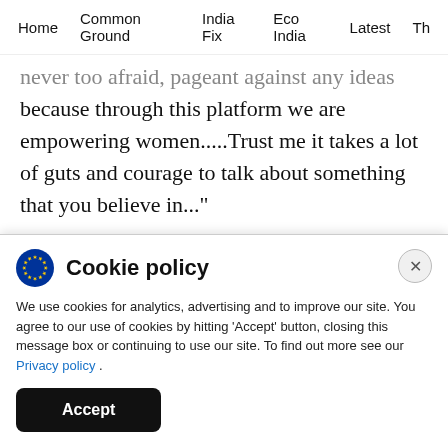Home  Common Ground  India Fix  Eco India  Latest  Th
...never too afraid, pageant against any ideas because through this platform we are empowering women.....Trust me it takes a lot of guts and courage to talk about something that you believe in..."
Yes, it does take a lot of courage to speak out on what you believe in, especially if those views do not ...
Cookie policy
We use cookies for analytics, advertising and to improve our site. You agree to our use of cookies by hitting 'Accept' button, closing this message box or continuing to use our site. To find out more see our Privacy policy .
Accept